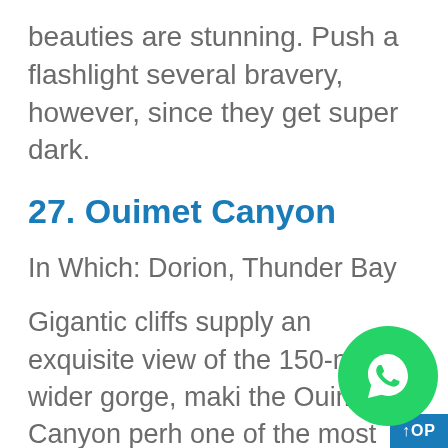beauties are stunning. Push a flashlight several bravery, however, since they get super dark.
27. Ouimet Canyon
In Which: Dorion, Thunder Bay
Gigantic cliffs supply an exquisite view of the 150-metre wider gorge, maki… the Ouimet Canyon perh… one of the most bucket list
[Figure (logo): WhatsApp floating action button — green circle with white phone/chat icon]
[Figure (other): Blue TOP scroll-to-top button in bottom right corner]